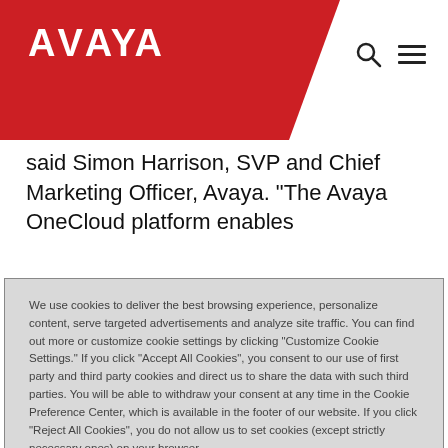AVAYA
said Simon Harrison, SVP and Chief Marketing Officer, Avaya. “The Avaya OneCloud platform enables
We use cookies to deliver the best browsing experience, personalize content, serve targeted advertisements and analyze site traffic. You can find out more or customize cookie settings by clicking "Customize Cookie Settings." If you click "Accept All Cookies", you consent to our use of first party and third party cookies and direct us to share the data with such third parties. You will be able to withdraw your consent at any time in the Cookie Preference Center, which is available in the footer of our website. If you click "Reject All Cookies", you do not allow us to set cookies (except strictly necessary ones) on your browser.
Customize Cookie Settings
Reject All Cookies